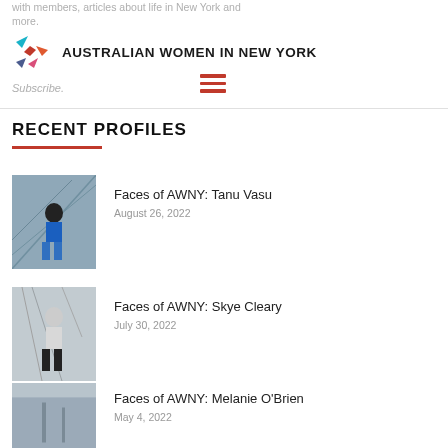with members, articles about life in New York and more.
[Figure (logo): Australian Women in New York logo with colorful star and text AUSTRALIAN WOMEN IN NEW YORK]
Subscribe.
RECENT PROFILES
Faces of AWNY: Tanu Vasu
August 26, 2022
Faces of AWNY: Skye Cleary
July 30, 2022
Faces of AWNY: Melanie O'Brien
May 4, 2022